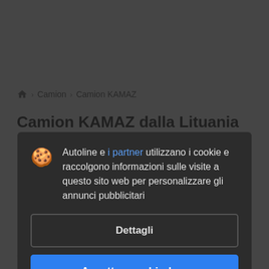🏠 > Camion > Camion KAMAZ
Camion KAMAZ dalla Lituania
Autoline e i partner utilizzano i cookie e raccolgono informazioni sulle visite a questo sito web per personalizzare gli annunci pubblicitari
Dettagli
Accettare e chiudere
Camion KAMAZ dalla Lituania: 4 annunci